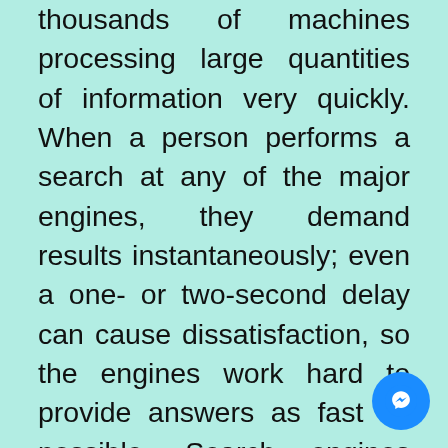thousands of machines processing large quantities of information very quickly. When a person performs a search at any of the major engines, they demand results instantaneously; even a one- or two-second delay can cause dissatisfaction, so the engines work hard to provide answers as fast as possible. Search engines are answer machines. When a person performs an online search, the search engine scours its corpus of billions of documents and does two things: first, it returns only those results that are relevant or useful to the searcher's query; second, it ranks those results according to the popularity of the websites serving the